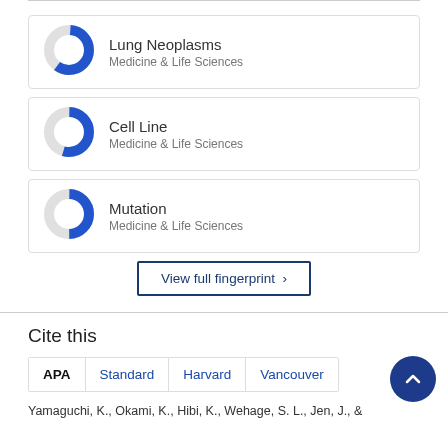[Figure (donut-chart): Donut chart icon for Lung Neoplasms, approximately 60% filled in blue]
Lung Neoplasms
Medicine & Life Sciences
[Figure (donut-chart): Donut chart icon for Cell Line, approximately 55% filled in blue]
Cell Line
Medicine & Life Sciences
[Figure (donut-chart): Donut chart icon for Mutation, approximately 50% filled in blue]
Mutation
Medicine & Life Sciences
View full fingerprint ›
Cite this
APA   Standard   Harvard   Vancouver
Yamaguchi, K., Okami, K., Hibi, K., Wehage, S. L., Jen, J., &